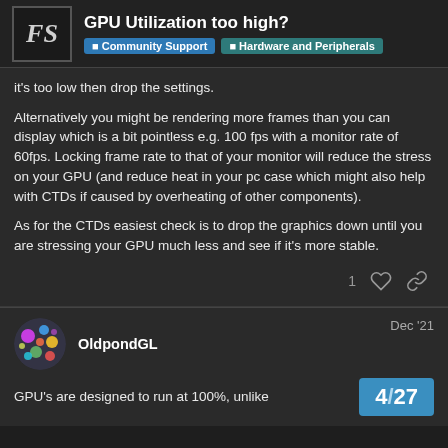GPU Utilization too high? | Community Support | Hardware and Peripherals
it's too low then drop the settings.
Alternatively you might be rendering more frames than you can display which is a bit pointless e.g. 100 fps with a monitor rate of 60fps. Locking frame rate to that of your monitor will reduce the stress on your GPU (and reduce heat in your pc case which might also help with CTDs if caused by overheating of other components).
As for the CTDs easiest check is to drop the graphics down until you are stressing your GPU much less and see if it's more stable.
OldpondGL  Dec '21
GPU's are designed to run at 100%, unlike